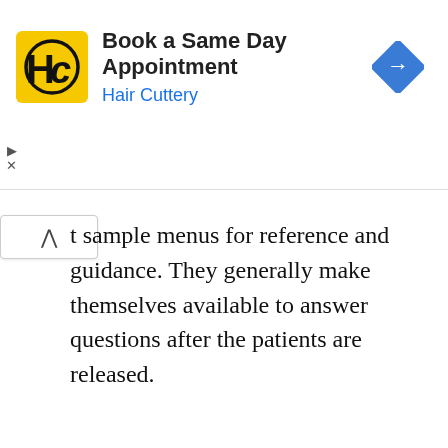[Figure (other): Hair Cuttery advertisement banner: 'Book a Same Day Appointment' with HC logo (black H and C on yellow square background) and a blue navigation arrow icon on the right. 'Hair Cuttery' in blue text below the main headline.]
t sample menus for reference and guidance. They generally make themselves available to answer questions after the patients are released.